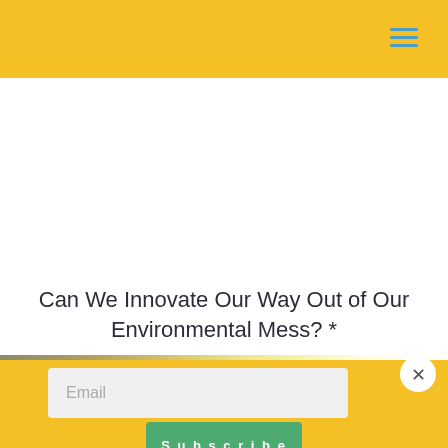Can We Innovate Our Way Out of Our Environmental Mess? *
[Figure (photo): Horizon landscape strip showing a bright sunlit horizon with warm golden tones]
Email
Subscribe